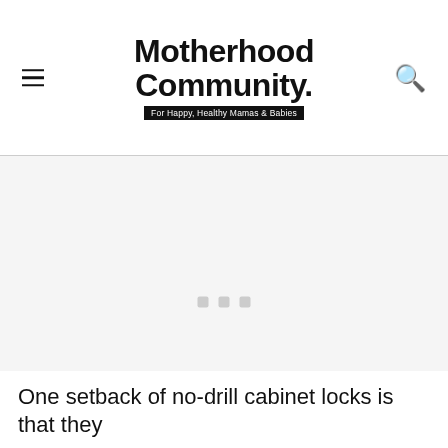Motherhood Community. For Happy, Healthy Mamas & Babies
[Figure (other): Large grey placeholder image area with three small grey loading indicator squares in the center]
One setback of no-drill cabinet locks is that they